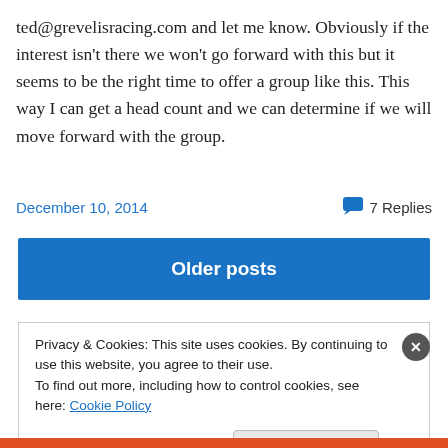ted@grevelisracing.com and let me know. Obviously if the interest isn't there we won't go forward with this but it seems to be the right time to offer a group like this. This way I can get a head count and we can determine if we will move forward with the group.
December 10, 2014   7 Replies
Older posts
Privacy & Cookies: This site uses cookies. By continuing to use this website, you agree to their use.
To find out more, including how to control cookies, see here: Cookie Policy
Close and accept